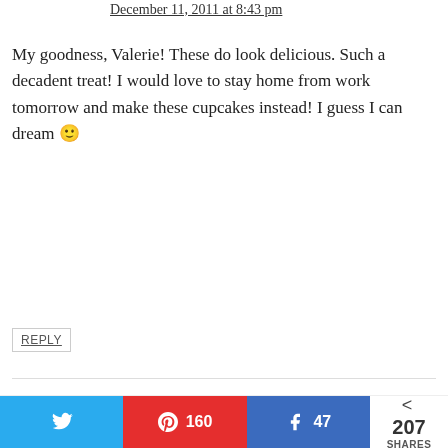December 11, 2011 at 8:43 pm
My goodness, Valerie! These do look delicious. Such a decadent treat! I would love to stay home from work tomorrow and make these cupcakes instead! I guess I can dream 🙂
REPLY
Valerie says
December 11, 2011 at 10:02 pm
Monet –
207 SHARES  160  47